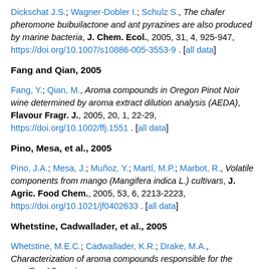Dickschat J.S.; Wagner-Dobler I.; Schulz S., The chafer pheromone buibuilactone and ant pyrazines are also produced by marine bacteria, J. Chem. Ecol., 2005, 31, 4, 925-947, https://doi.org/10.1007/s10886-005-3553-9 . [all data]
Fang and Qian, 2005
Fang, Y.; Qian, M., Aroma compounds in Oregon Pinot Noir wine determined by aroma extract dilution analysis (AEDA), Flavour Fragr. J., 2005, 20, 1, 22-29, https://doi.org/10.1002/ffj.1551 . [all data]
Pino, Mesa, et al., 2005
Pino, J.A.; Mesa, J.; Muñoz, Y.; Martí, M.P.; Marbot, R., Volatile components from mango (Mangifera indica L.) cultivars, J. Agric. Food Chem., 2005, 53, 6, 2213-2223, https://doi.org/10.1021/jf0402633 . [all data]
Whetstine, Cadwallader, et al., 2005
Whetstine, M.E.C.; Cadwallader, K.R.; Drake, M.A., Characterization of aroma compounds responsible for the rosy/floral flavor in...